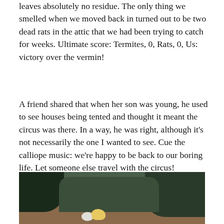leaves absolutely no residue. The only thing we smelled when we moved back in turned out to be two dead rats in the attic that we had been trying to catch for weeks. Ultimate score: Termites, 0, Rats, 0, Us: victory over the vermin!
A friend shared that when her son was young, he used to see houses being tented and thought it meant the circus was there. In a way, he was right, although it's not necessarily the one I wanted to see. Cue the calliope music: we're happy to be back to our boring life. Let someone else travel with the circus!
[Figure (photo): Outdoor garden photo showing green foliage and shrubs against a darker background, with what appears to be a chicken or hen on brown/reddish ground in the lower portion of the image.]